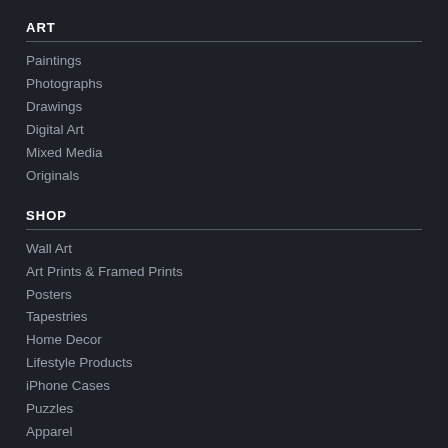ART
Paintings
Photographs
Drawings
Digital Art
Mixed Media
Originals
SHOP
Wall Art
Art Prints & Framed Prints
Posters
Tapestries
Home Decor
Lifestyle Products
iPhone Cases
Puzzles
Apparel
Gift Cards